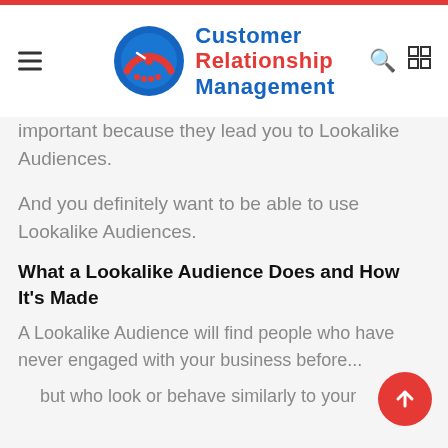Customer Relationship Management
important because they lead you to Lookalike Audiences.
And you definitely want to be able to use Lookalike Audiences.
What a Lookalike Audience Does and How It's Made
A Lookalike Audience will find people who have never engaged with your business before...
but who look or behave similarly to your